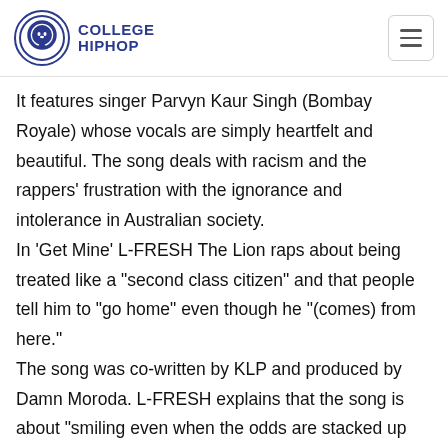COLLEGE HIPHOP
It features singer Parvyn Kaur Singh (Bombay Royale) whose vocals are simply heartfelt and beautiful. The song deals with racism and the rappers' frustration with the ignorance and intolerance in Australian society. In 'Get Mine' L-FRESH The Lion raps about being treated like a "second class citizen" and that people tell him to "go home" even though he "(comes) from here." The song was co-written by KLP and produced by Damn Moroda. L-FRESH explains that the song is about "smiling even when the odds are stacked up against you; stylin' on em, even when the game wasn't made for you to win." "Get Mine" is framed by urgent and powerful rapping and